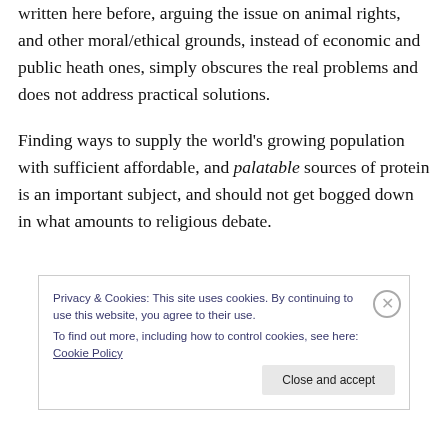written here before, arguing the issue on animal rights, and other moral/ethical grounds, instead of economic and public heath ones, simply obscures the real problems and does not address practical solutions.
Finding ways to supply the world's growing population with sufficient affordable, and palatable sources of protein is an important subject, and should not get bogged down in what amounts to religious debate.
Privacy & Cookies: This site uses cookies. By continuing to use this website, you agree to their use.
To find out more, including how to control cookies, see here: Cookie Policy
Close and accept